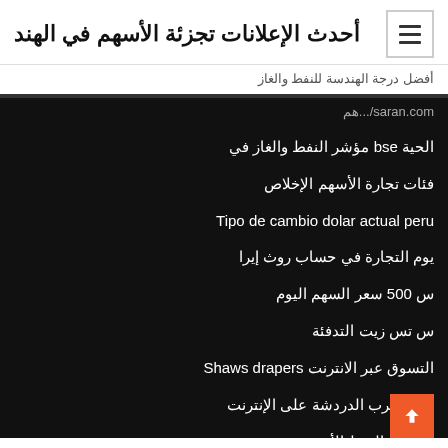أحدث الإعلانات تجزئة الأسهم في الهند
أفضل درجة الهندسة للنفط والغاز
saran.com/...هم
الحية bse مؤشر النفط والغاز في
فئات تجارة الأسهم الإخلاص
Tipo de cambio dolar actual peru
يوم التجارة في حساب روث إيرا
س 500 سعر السهم اليوم
س تس زيت التدفئة
التسوق عبر الانترنت Shaws drapers
تسعة غرب الدردشة على الإنترنت
مصافي النفط الأوروبية
الاخد ...